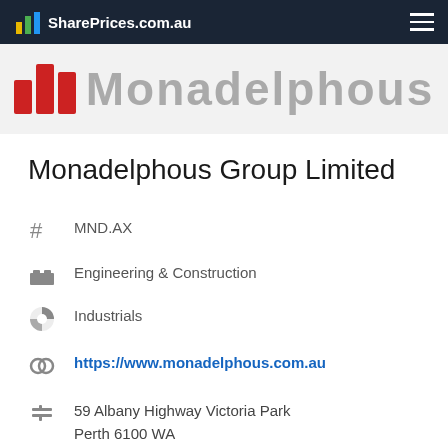SharePrices.com.au
[Figure (logo): Monadelphous company logo with red bar chart icon and grey text]
Monadelphous Group Limited
MND.AX
Engineering & Construction
Industrials
https://www.monadelphous.com.au
59 Albany Highway Victoria Park
Perth 6100 WA
61 8 9316 1355